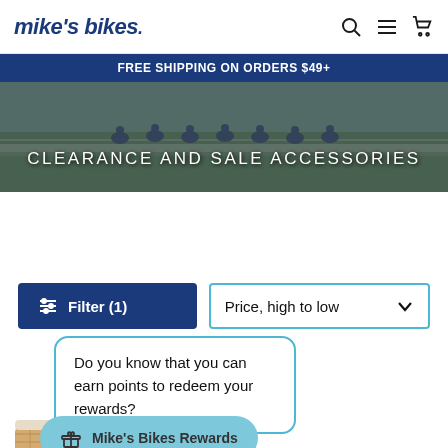mike's bikes.
FREE SHIPPING ON ORDERS $49+
[Figure (photo): Group of cyclists on a bridge, hero banner image]
CLEARANCE AND SALE ACCESSORIES
Filter (1)
Price, high to low
Do you know that you can earn points to redeem your rewards?
Mike's Bikes Rewards